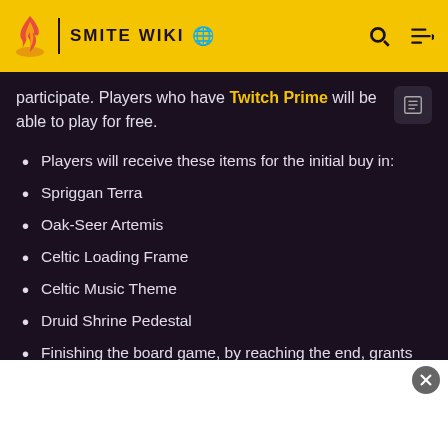SMITE WIKI
participate. Players who have Twitch Prime will be able to play for free.
Players will receive these items for the initial buy in:
Spriggan Terra
Oak-Seer Artemis
Celtic Loading Frame
Celtic Music Theme
Druid Shrine Pedestal
Finishing the board game, by reaching the end, grants the player:
Woodland Rovor Maririsoo